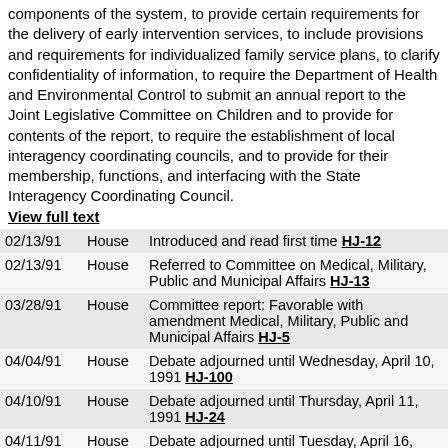components of the system, to provide certain requirements for the delivery of early intervention services, to include provisions and requirements for individualized family service plans, to clarify confidentiality of information, to require the Department of Health and Environmental Control to submit an annual report to the Joint Legislative Committee on Children and to provide for contents of the report, to require the establishment of local interagency coordinating councils, and to provide for their membership, functions, and interfacing with the State Interagency Coordinating Council.
View full text
| Date | Chamber | Action |
| --- | --- | --- |
| 02/13/91 | House | Introduced and read first time HJ-12 |
| 02/13/91 | House | Referred to Committee on Medical, Military, Public and Municipal Affairs HJ-13 |
| 03/28/91 | House | Committee report: Favorable with amendment Medical, Military, Public and Municipal Affairs HJ-5 |
| 04/04/91 | House | Debate adjourned until Wednesday, April 10, 1991 HJ-100 |
| 04/10/91 | House | Debate adjourned until Thursday, April 11, 1991 HJ-24 |
| 04/11/91 | House | Debate adjourned until Tuesday, April 16, 1991 HJ-4 |
| 04/16/91 | House | Tabled HJ-10 |